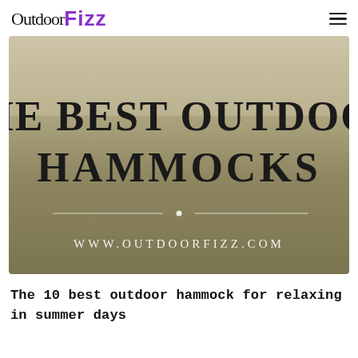OutdoorFizz
[Figure (illustration): Hero image with golden-brown gradient background displaying large serif text 'THE BEST OUTDOOR HAMMOCKS' and website URL 'WWW.OUTDOORFIZZ.COM' at the bottom with decorative horizontal lines.]
The 10 best outdoor hammock for relaxing in summer days